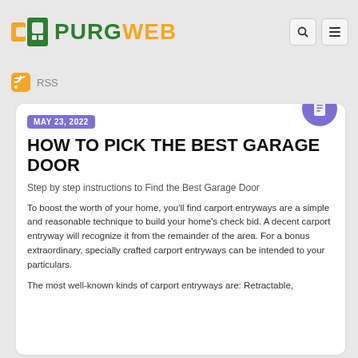PURGWEB
RSS
MAY 23, 2022
HOW TO PICK THE BEST GARAGE DOOR
Step by step instructions to Find the Best Garage Door
To boost the worth of your home, you'll find carport entryways are a simple and reasonable technique to build your home's check bid. A decent carport entryway will recognize it from the remainder of the area. For a bonus extraordinary, specially crafted carport entryways can be intended to your particulars.
The most well-known kinds of carport entryways are: Retractable,